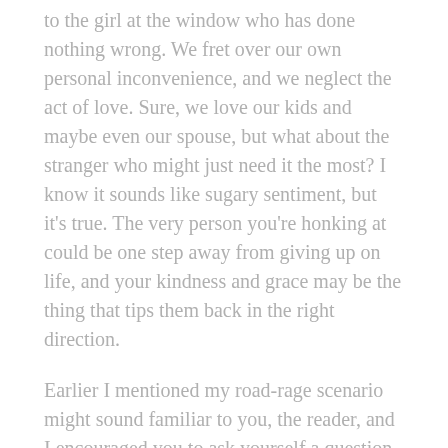to the girl at the window who has done nothing wrong. We fret over our own personal inconvenience, and we neglect the act of love. Sure, we love our kids and maybe even our spouse, but what about the stranger who might just need it the most? I know it sounds like sugary sentiment, but it's true. The very person you're honking at could be one step away from giving up on life, and your kindness and grace may be the thing that tips them back in the right direction.
Earlier I mentioned my road-rage scenario might sound familiar to you, the reader, and I encouraged you to ask yourself a question. So, which car are you in? Are you the one throwing rage instead of